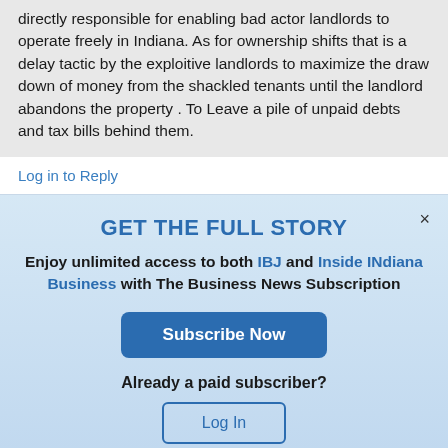directly responsible for enabling bad actor landlords to operate freely in Indiana. As for ownership shifts that is a delay tactic by the exploitive landlords to maximize the draw down of money from the shackled tenants until the landlord abandons the property . To Leave a pile of unpaid debts and tax bills behind them.
Log in to Reply
GET THE FULL STORY
Enjoy unlimited access to both IBJ and Inside INdiana Business with The Business News Subscription
Subscribe Now
Already a paid subscriber?
Log In